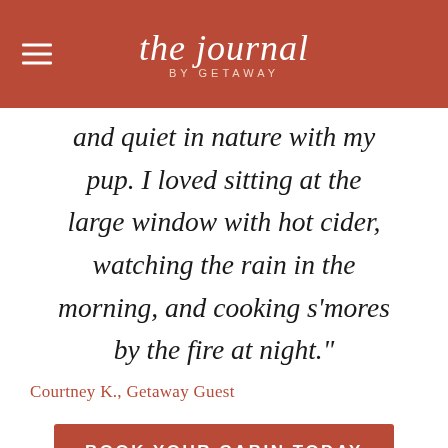the journal BY GETAWAY
and quiet in nature with my pup. I loved sitting at the large window with hot cider, watching the rain in the morning, and cooking s'mores by the fire at night."
Courtney K., Getaway Guest
BOOK YOUR CABIN TODAY